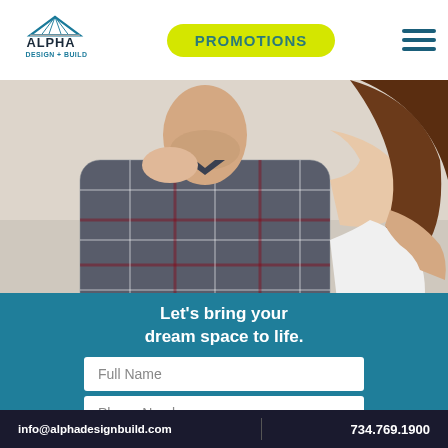[Figure (logo): Alpha Design + Build logo with house/roof icon above text]
PROMOTIONS
[Figure (photo): A couple embracing, man in plaid shirt, woman in white top hugging him from behind]
Let's bring your dream space to life.
Full Name
Phone Number
info@alphadesignbuild.com    734.769.1900